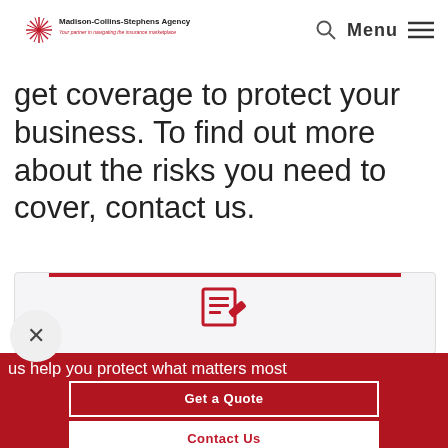Madison-Collins-Stephens Agency — Your partner in navigating the insurance marketplace
get coverage to protect your business. To find out more about the risks you need to cover, contact us.
[Figure (screenshot): Partial view of a card/widget with a red top bar and a form/document icon]
us help you protect what matters most
Get a Quote
Contact Us